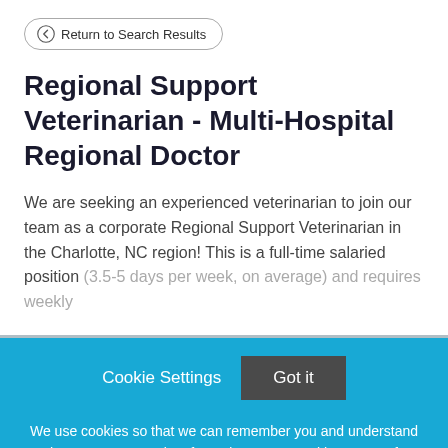Return to Search Results
Regional Support Veterinarian - Multi-Hospital Regional Doctor
We are seeking an experienced veterinarian to join our team as a corporate Regional Support Veterinarian in the Charlotte, NC region! This is a full-time salaried position (3.5-5 days per week, on average) and requires weekly
Cookie Settings  Got it
We use cookies so that we can remember you and understand how you use our site. If you do not agree with our use of cookies, please change the current settings found in our Cookie Policy. Otherwise, you agree to the use of the cookies as they are currently set.